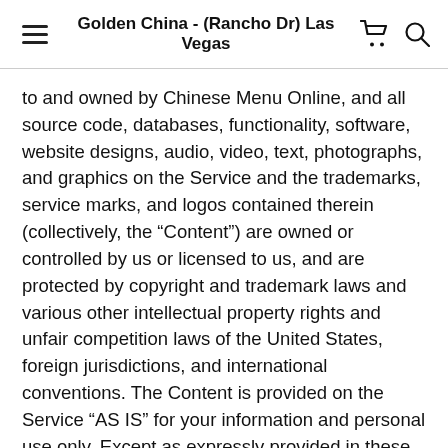Golden China - (Rancho Dr) Las Vegas
to and owned by Chinese Menu Online, and all source code, databases, functionality, software, website designs, audio, video, text, photographs, and graphics on the Service and the trademarks, service marks, and logos contained therein (collectively, the “Content”) are owned or controlled by us or licensed to us, and are protected by copyright and trademark laws and various other intellectual property rights and unfair competition laws of the United States, foreign jurisdictions, and international conventions. The Content is provided on the Service “AS IS” for your information and personal use only. Except as expressly provided in these Terms, no part of the Service, and no Content, may be copied, reproduced, aggregated, republished, uploaded, posted, publicly displayed, encoded, translated, transmitted, distributed, sold, licensed, or otherwise exploited for any commercial